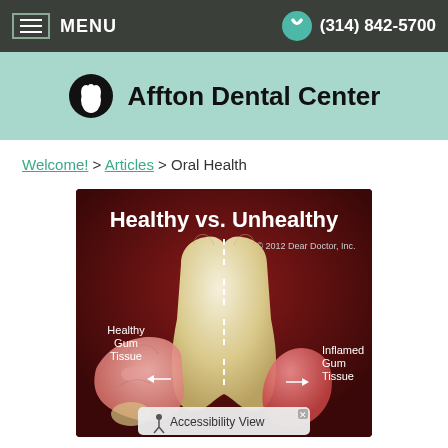MENU   (314) 842-5700
Affton Dental Center
Welcome! > Articles > Oral Health
[Figure (illustration): Medical illustration titled 'Healthy vs. Unhealthy' showing a cross-section of a tooth with a dashed line dividing the left side (Healthy Gum Tissue) from the right side (Inflamed Gum Tissue). Copyright 2012 Dear Doctor, Inc.]